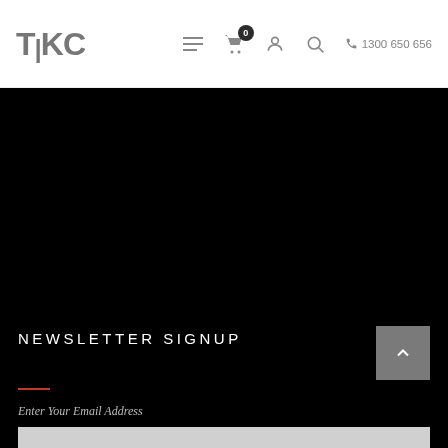TKC | 0 | 1300 650 656
[Figure (screenshot): Large black hero/banner section]
NEWSLETTER SIGNUP
Enter Your Email Address